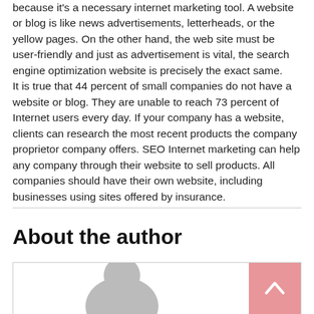because it's a necessary internet marketing tool. A website or blog is like news advertisements, letterheads, or the yellow pages. On the other hand, the web site must be user-friendly and just as advertisement is vital, the search engine optimization website is precisely the exact same. It is true that 44 percent of small companies do not have a website or blog. They are unable to reach 73 percent of Internet users every day. If your company has a website, clients can research the most recent products the company proprietor company offers. SEO Internet marketing can help any company through their website to sell products. All companies should have their own website, including businesses using sites offered by insurance.
About the author
[Figure (illustration): Author profile card with a grey circular avatar placeholder on the left and a pink/salmon back-to-top arrow button on the right.]